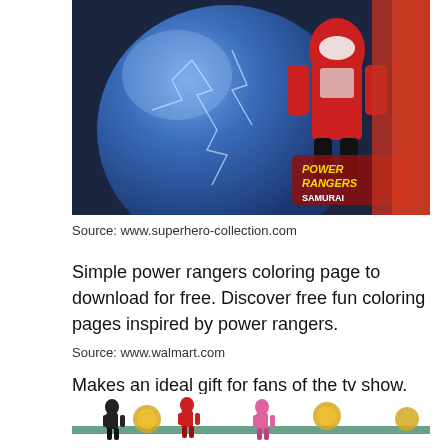[Figure (photo): Photo of a Power Rangers Samurai themed item (ball or bag) with blue and red coloring and character artwork]
Source: www.superhero-collection.com
Simple power rangers coloring page to download for free. Discover free fun coloring pages inspired by power rangers.
Source: www.walmart.com
Makes an ideal gift for fans of the tv show. Download and print these red power ranger coloring pages for free.
[Figure (photo): Photo of Power Rangers themed fabric or wrapping paper with colorful ranger characters on white background]